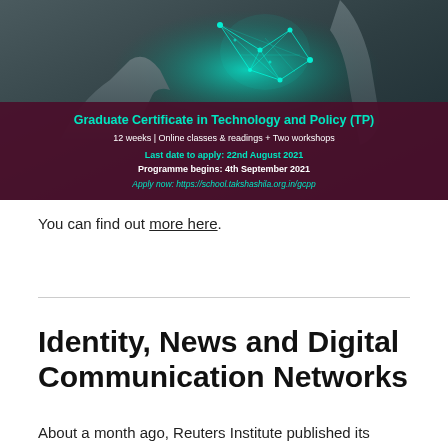[Figure (illustration): Advertisement banner for Graduate Certificate in Technology and Policy (TP). Background shows hands touching a glowing cyan digital brain/network shape. Text overlay on dark maroon/purple band reads: 'Graduate Certificate in Technology and Policy (TP)', '12 weeks | Online classes & readings + Two workshops', 'Last date to apply: 22nd August 2021', 'Programme begins: 4th September 2021', 'Apply now: https://school.takshashila.org.in/gcpp']
You can find out more here.
Identity, News and Digital Communication Networks
About a month ago, Reuters Institute published its